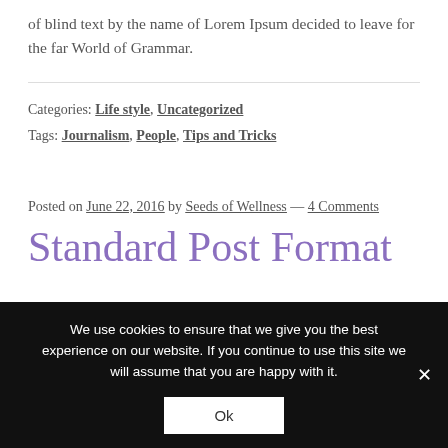of blind text by the name of Lorem Ipsum decided to leave for the far World of Grammar.
Categories: Life style, Uncategorized
Tags: Journalism, People, Tips and Tricks
Posted on June 22, 2016 by Seeds of Wellness — 4 Comments
Standard Post Format
We use cookies to ensure that we give you the best experience on our website. If you continue to use this site we will assume that you are happy with it.